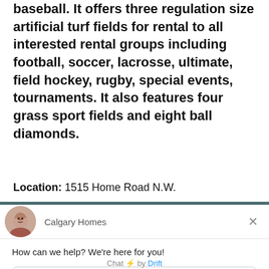baseball. It offers three regulation size artificial turf fields for rental to all interested rental groups including football, soccer, lacrosse, ultimate, field hockey, rugby, special events, tournaments. It also features four grass sport fields and eight ball diamonds.
Location: 1515 Home Road N.W.
[Figure (screenshot): A chat widget popup from 'Calgary Homes' with a logo avatar, a close button (X), greeting text 'How can we help? We're here for you!', a reply input field labeled 'Reply to Calgary Homes', and a footer reading 'Chat ⚡ by Drift'.]